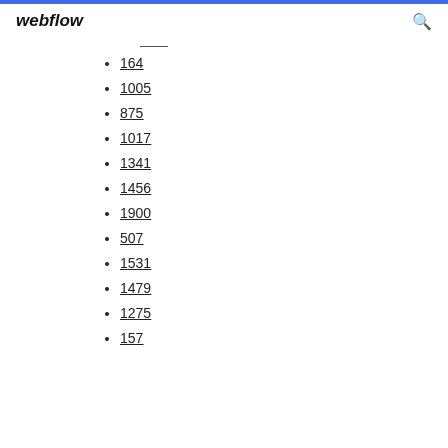webflow
164
1005
875
1017
1341
1456
1900
507
1531
1479
1275
157